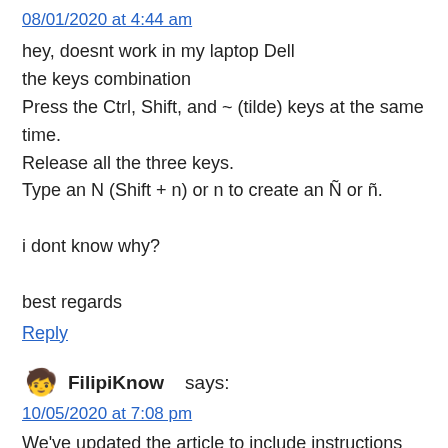08/01/2020 at 4:44 am
hey, doesnt work in my laptop Dell
the keys combination
Press the Ctrl, Shift, and ~ (tilde) keys at the same time.
Release all the three keys.
Type an N (Shift + n) or n to create an Ñ or ñ.

i dont know why?

best regards
Reply
FilipiKnow says:
10/05/2020 at 7:08 pm
We've updated the article to include instructions